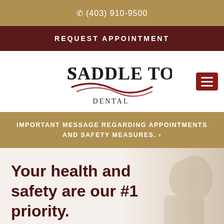☎ (403) 910-9500
REQUEST APPOINTMENT
[Figure (logo): Saddle Towne Dental logo with stylized wave and serif lettering]
IMPORTANT MESSAGE REGARDING APPOINTMENTS AND SAFETY MEASURES. ›
Your health and safety are our #1 priority.